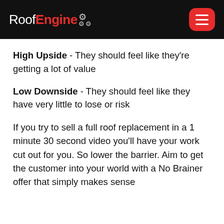RoofEngine [logo with gears]
High Upside - They should feel like they're getting a lot of value
Low Downside - They should feel like they have very little to lose or risk
If you try to sell a full roof replacement in a 1 minute 30 second video you'll have your work cut out for you. So lower the barrier. Aim to get the customer into your world with a No Brainer offer that simply makes sense